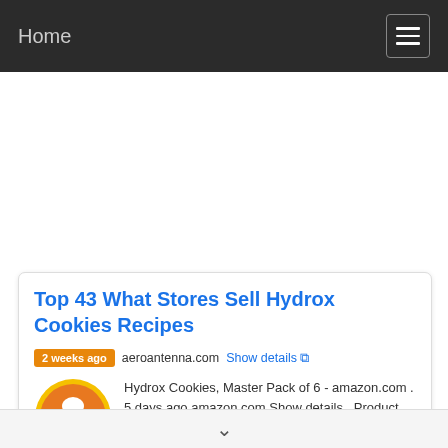Home
Top 43 What Stores Sell Hydrox Cookies Recipes
2 weeks ago  aeroantenna.com  Show details
Hydrox Cookies, Master Pack of 6 - amazon.com . 5 days ago amazon.com Show details . Product Dimensions : 13.13 x 8 x 6.5 inches; 5.75 Pounds. Item